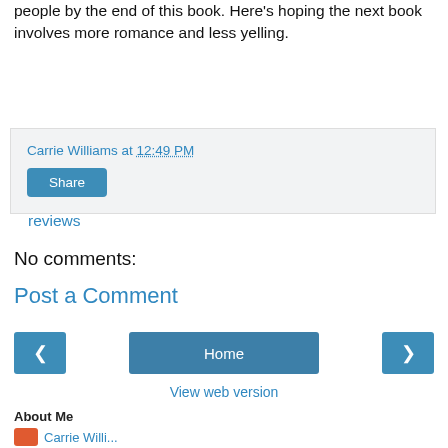people by the end of this book. Here's hoping the next book involves more romance and less yelling.
View all my reviews
Carrie Williams at 12:49 PM
Share
No comments:
Post a Comment
Home
View web version
About Me
Carrie Willi...